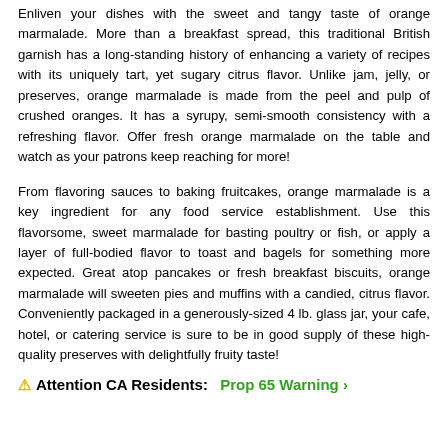Enliven your dishes with the sweet and tangy taste of orange marmalade. More than a breakfast spread, this traditional British garnish has a long-standing history of enhancing a variety of recipes with its uniquely tart, yet sugary citrus flavor. Unlike jam, jelly, or preserves, orange marmalade is made from the peel and pulp of crushed oranges. It has a syrupy, semi-smooth consistency with a refreshing flavor. Offer fresh orange marmalade on the table and watch as your patrons keep reaching for more!
From flavoring sauces to baking fruitcakes, orange marmalade is a key ingredient for any food service establishment. Use this flavorsome, sweet marmalade for basting poultry or fish, or apply a layer of full-bodied flavor to toast and bagels for something more expected. Great atop pancakes or fresh breakfast biscuits, orange marmalade will sweeten pies and muffins with a candied, citrus flavor. Conveniently packaged in a generously-sized 4 lb. glass jar, your cafe, hotel, or catering service is sure to be in good supply of these high-quality preserves with delightfully fruity taste!
⚠ Attention CA Residents: Prop 65 Warning ›